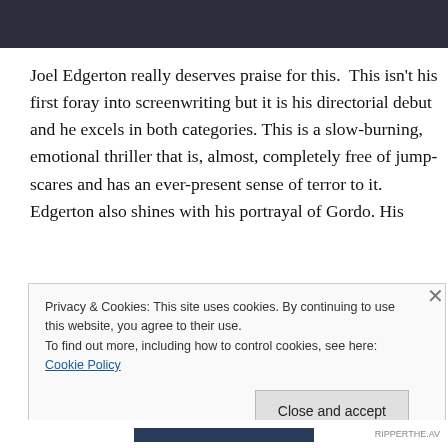[Figure (photo): Dark photograph strip at top of page showing a person in dark clothing]
Joel Edgerton really deserves praise for this.  This isn't his first foray into screenwriting but it is his directorial debut and he excels in both categories. This is a slow-burning, emotional thriller that is, almost, completely free of jump-scares and has an ever-present sense of terror to it. Edgerton also shines with his portrayal of Gordo. His
Privacy & Cookies: This site uses cookies. By continuing to use this website, you agree to their use.
To find out more, including how to control cookies, see here: Cookie Policy
Close and accept